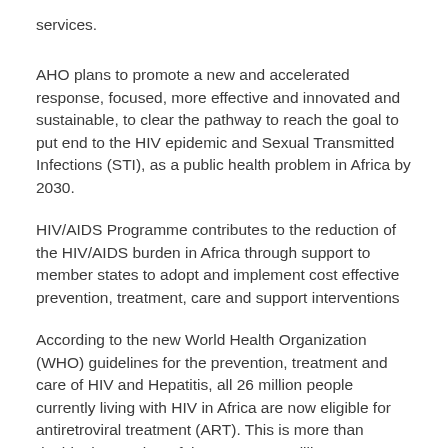services.
AHO plans to promote a new and accelerated response, focused, more effective and innovated and sustainable, to clear the pathway to reach the goal to put end to the HIV epidemic and Sexual Transmitted Infections (STI), as a public health problem in Africa by 2030.
HIV/AIDS Programme contributes to the reduction of the HIV/AIDS burden in Africa through support to member states to adopt and implement cost effective prevention, treatment, care and support interventions
According to the new World Health Organization (WHO) guidelines for the prevention, treatment and care of HIV and Hepatitis, all 26 million people currently living with HIV in Africa are now eligible for antiretroviral treatment (ART). This is more than double the number of the current 11 million on treatment.